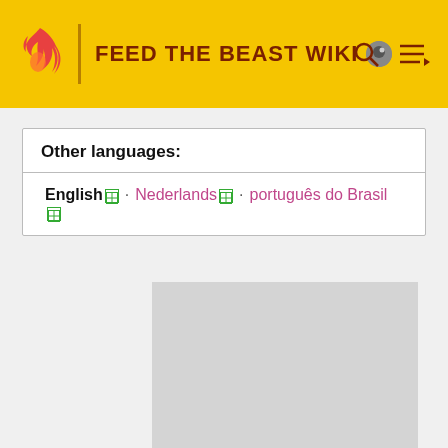FEED THE BEAST WIKI
Other languages: English · Nederlands · português do Brasil
[Figure (other): Gray placeholder image area]